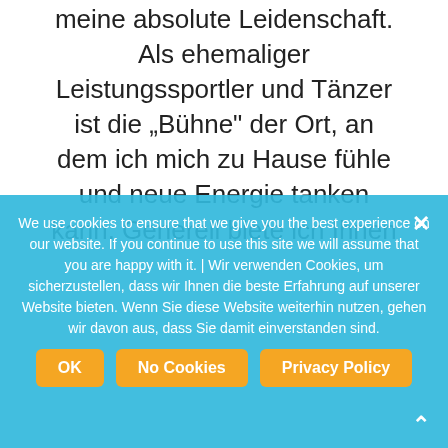meine absolute Leidenschaft. Als ehemaliger Leistungssportler und Tänzer ist die "Bühne" der Ort, an dem ich mich zu Hause fühle und neue Energie tanken kann. Generell biete ich Ihnen
We use cookies to ensure that we give you the best experience on our website. If you continue to use this site we will assume that you are happy with it. | Wir verwenden Cookies, um sicherzustellen, dass wir Ihnen die beste Erfahrung auf unserer Website bieten. Wenn Sie diese Website weiterhin nutzen, gehen wir davon aus, dass Sie damit einverstanden sind.